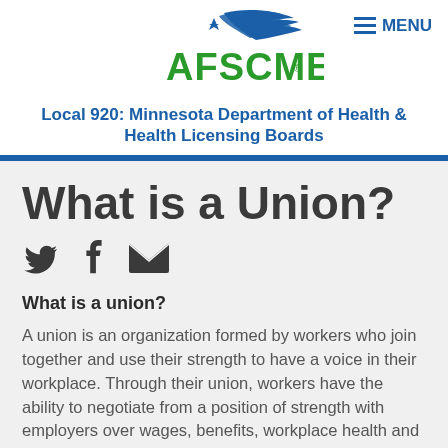[Figure (logo): AFSCME logo with swoosh graphic above green AFSCME text]
≡ MENU
Local 920: Minnesota Department of Health & Health Licensing Boards
What is a Union?
[Figure (illustration): Social share icons: Twitter bird, Facebook f, and email envelope]
What is a union?
A union is an organization formed by workers who join together and use their strength to have a voice in their workplace. Through their union, workers have the ability to negotiate from a position of strength with employers over wages, benefits, workplace health and safety, job training and other